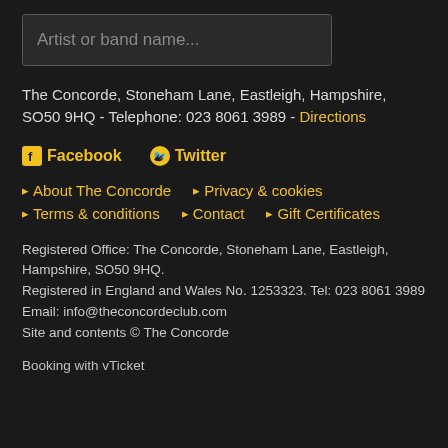Artist or band name...
The Concorde, Stoneham Lane, Eastleigh, Hampshire, SO50 9HQ - Telephone: 023 8061 3989 - Directions
Facebook  Twitter
About The Concorde
Privacy & cookies
Terms & conditions
Contact
Gift Certificates
Registered Office: The Concorde, Stoneham Lane, Eastleigh, Hampshire, SO50 9HQ.
Registered in England and Wales No. 1253323. Tel: 023 8061 3989
Email: info@theconcordeclub.com
Site and contents © The Concorde
Booking with vTicket